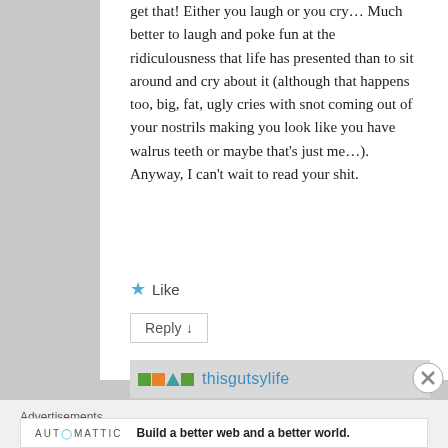get that! Either you laugh or you cry… Much better to laugh and poke fun at the ridiculousness that life has presented than to sit around and cry about it (although that happens too, big, fat, ugly cries with snot coming out of your nostrils making you look like you have walrus teeth or maybe that's just me…). Anyway, I can't wait to read your shit.
Like
Reply ↓
thisgutsylife
Advertisements
AUTOMATTIC  Build a better web and a better world.